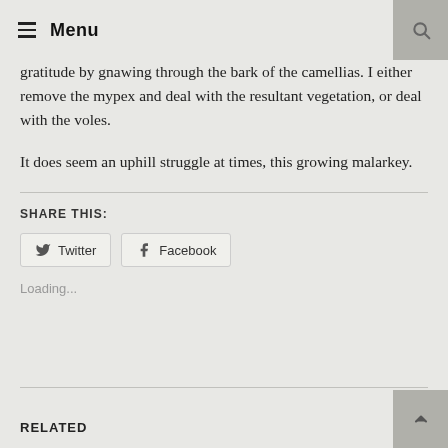Menu
gratitude by gnawing through the bark of the camellias. I either remove the mypex and deal with the resultant vegetation, or deal with the voles.
It does seem an uphill struggle at times, this growing malarkey.
SHARE THIS:
Twitter
Facebook
Loading...
RELATED